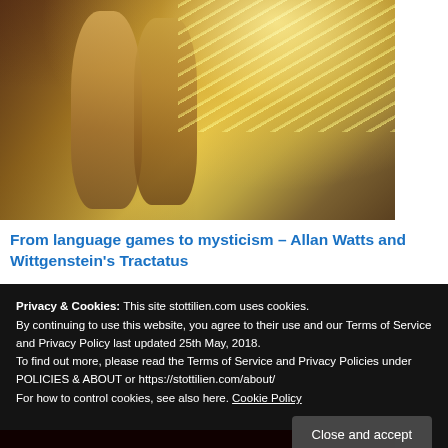[Figure (illustration): Classical painting showing two standing figures (likely female) in golden/warm tones on the left side, with dramatic light rays emanating from the upper right, on a dark reddish-brown background. Art style is impressionistic/symbolist.]
From language games to mysticism – Allan Watts and Wittgenstein's Tractatus
Privacy & Cookies: This site stottilien.com uses cookies.
By continuing to use this website, you agree to their use and our Terms of Service and Privacy Policy last updated 25th May, 2018.
To find out more, please read the Terms of Service and Privacy Policies under POLICIES & ABOUT or https://stottilien.com/about/
For how to control cookies, see also here. Cookie Policy
Close and accept